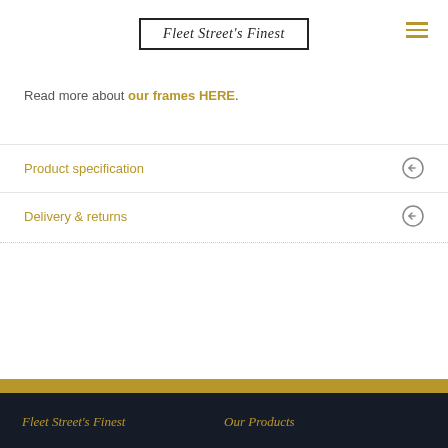Fleet Street's Finest
Read more about our frames HERE.
Product specification
Delivery & returns
Fleet Street's Finest   Our Products